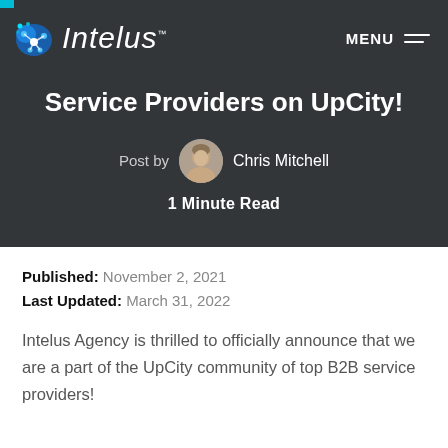Intelus — MENU
Service Providers on UpCity!
Post by Chris Mitchell
1 Minute Read
Published: November 2, 2021
Last Updated: March 31, 2022
Intelus Agency is thrilled to officially announce that we are a part of the UpCity community of top B2B service providers!